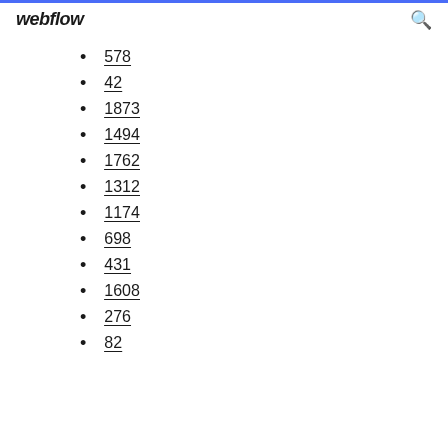webflow
578
42
1873
1494
1762
1312
1174
698
431
1608
276
82